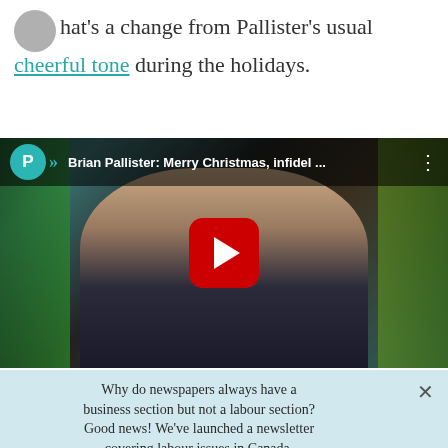hat's a change from Pallister's usual cheerful tone during the holidays.
[Figure (screenshot): YouTube video thumbnail showing Brian Pallister with Christmas decorations. Title: 'Brian Pallister: Merry Christmas, infidel ...']
Why do newspapers always have a business section but not a labour section? Good news! We've launched a newsletter covering labour issues in Canada.